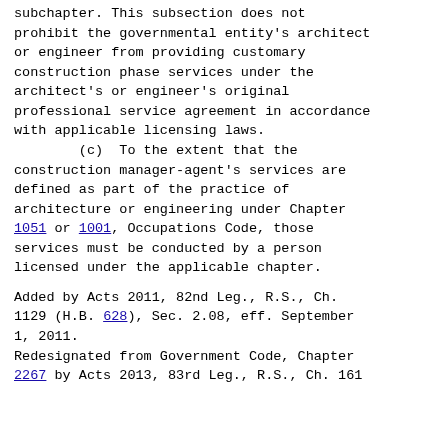subchapter.  This subsection does not prohibit the governmental entity's architect or engineer from providing customary construction phase services under the architect's or engineer's original professional service agreement in accordance with applicable licensing laws.
        (c)  To the extent that the construction manager-agent's services are defined as part of the practice of architecture or engineering under Chapter 1051 or 1001, Occupations Code, those services must be conducted by a person licensed under the applicable chapter.

Added by Acts 2011, 82nd Leg., R.S., Ch. 1129 (H.B. 628), Sec. 2.08, eff. September 1, 2011.
Redesignated from Government Code, Chapter 2267 by Acts 2013, 83rd Leg., R.S., Ch. 161